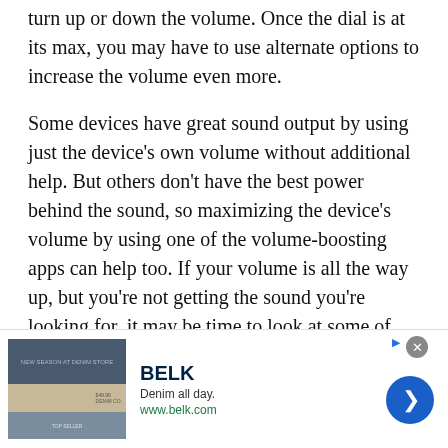turn up or down the volume. Once the dial is at its max, you may have to use alternate options to increase the volume even more.
Some devices have great sound output by using just the device's own volume without additional help. But others don't have the best power behind the sound, so maximizing the device's volume by using one of the volume-boosting apps can help too. If your volume is all the way up, but you're not getting the sound you're looking for, it may be time to look at some of the above-mentioned boosters.
[Figure (other): Advertisement banner for BELK department store. Shows 'BELK' brand name, tagline 'Denim all day.', URL 'www.belk.com', a product image panel on the left, and a blue circular call-to-action arrow button on the right.]